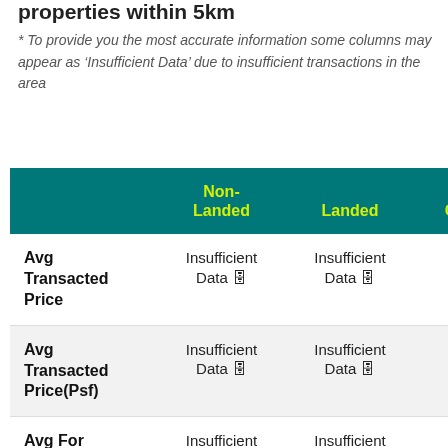properties within 5km
* To provide you the most accurate information some columns may appear as ‘Insufficient Data’ due to insufficient transactions in the area
|  | Non-Landed | Landed | Com |
| --- | --- | --- | --- |
| Avg Transacted Price | Insufficient Data | Insufficient Data | Insu Da |
| Avg Transacted Price(Psf) | Insufficient Data | Insufficient Data | Insu Da |
| Avg For Sale | Insufficient Data | Insufficient Data | Insu Da |